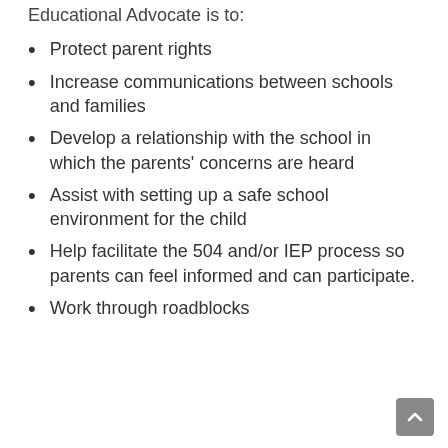Educational Advocate is to:
Protect parent rights
Increase communications between schools and families
Develop a relationship with the school in which the parents' concerns are heard
Assist with setting up a safe school environment for the child
Help facilitate the 504 and/or IEP process so parents can feel informed and can participate.
Work through roadblocks